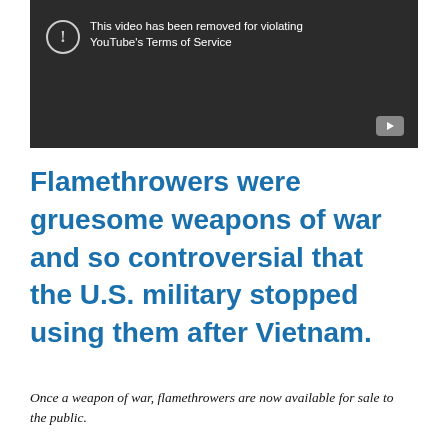[Figure (screenshot): YouTube video placeholder with dark background showing 'This video has been removed for violating YouTube's Terms of Service' message with warning icon and play button]
Flamethrowers were gruesome weapons of war and so controversial that the U.S. military stopped using them after Vietnam.
Once a weapon of war, flamethrowers are now available for sale to the public.